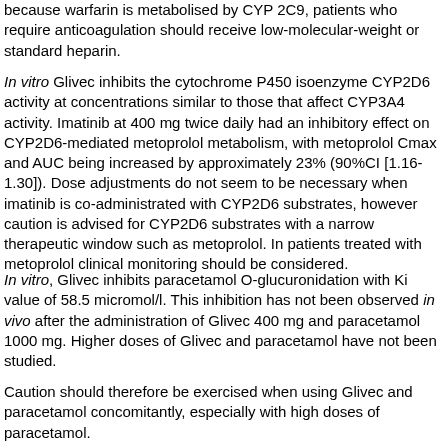because warfarin is metabolised by CYP 2C9, patients who require anticoagulation should receive low-molecular-weight or standard heparin.
In vitro Glivec inhibits the cytochrome P450 isoenzyme CYP2D6 activity at concentrations similar to those that affect CYP3A4 activity. Imatinib at 400 mg twice daily had an inhibitory effect on CYP2D6-mediated metoprolol metabolism, with metoprolol Cmax and AUC being increased by approximately 23% (90%CI [1.16-1.30]). Dose adjustments do not seem to be necessary when imatinib is co-administrated with CYP2D6 substrates, however caution is advised for CYP2D6 substrates with a narrow therapeutic window such as metoprolol. In patients treated with metoprolol clinical monitoring should be considered.
In vitro, Glivec inhibits paracetamol O-glucuronidation with Ki value of 58.5 micromol/l. This inhibition has not been observed in vivo after the administration of Glivec 400 mg and paracetamol 1000 mg. Higher doses of Glivec and paracetamol have not been studied.
Caution should therefore be exercised when using Glivec and paracetamol concomitantly, especially with high doses of paracetamol.